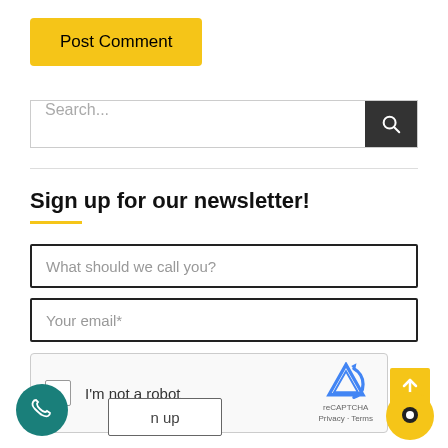Post Comment
Search...
Sign up for our newsletter!
What should we call you?
Your email*
[Figure (other): reCAPTCHA widget with checkbox 'I'm not a robot' and reCAPTCHA logo with Privacy and Terms links]
n up